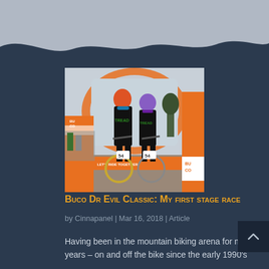[Figure (photo): Two mountain bikers in black and green TREAD jerseys and helmets posing at a finish line with an orange inflatable arch reading 'LET'S RIDE TOGETHER' and orange BUCO banners. Bike numbers 54 visible.]
Buco Dr Evil Classic: My first stage race
by Cinnapanel | Mar 16, 2018 | Article
Having been in the mountain biking arena for many years – on and off the bike since the early 1990's